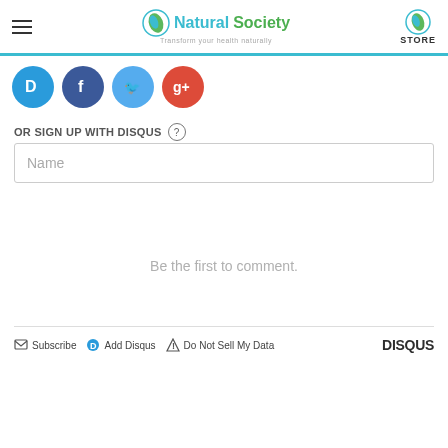Natural Society — Transform your health naturally | STORE
[Figure (other): Social media icon buttons: Disqus (blue), Facebook (blue), Twitter (light blue), Google+ (red)]
OR SIGN UP WITH DISQUS ?
Name
Be the first to comment.
Subscribe  Add Disqus  Do Not Sell My Data  DISQUS